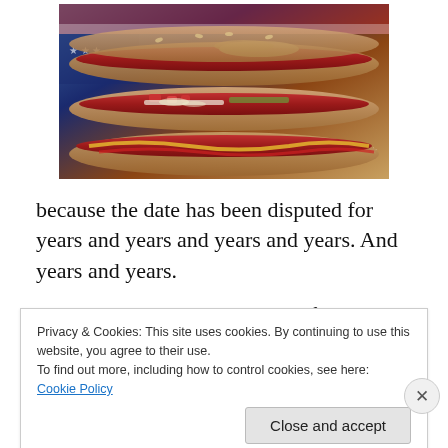[Figure (photo): Photo of several hot dogs with various toppings including onions, tomatoes, and relish on buns, arranged on a surface with an American flag in the background.]
because the date has been disputed for years and years and years and years.  And years and years.
All that matters is, regardless of the day, the U.S. was no longer under British rule.
Privacy & Cookies: This site uses cookies. By continuing to use this website, you agree to their use.
To find out more, including how to control cookies, see here: Cookie Policy
Close and accept